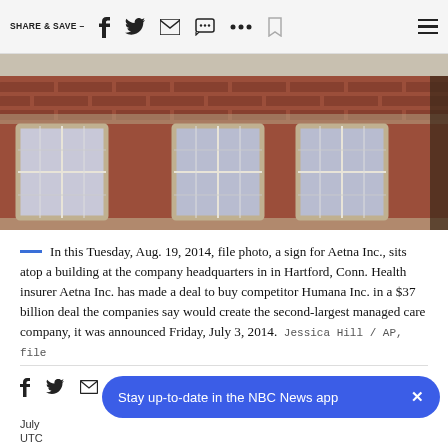SHARE & SAVE —
[Figure (photo): Exterior of a red brick building with large multi-pane windows, the Aetna Inc. company headquarters in Hartford, Conn.]
In this Tuesday, Aug. 19, 2014, file photo, a sign for Aetna Inc., sits atop a building at the company headquarters in in Hartford, Conn. Health insurer Aetna Inc. has made a deal to buy competitor Humana Inc. in a $37 billion deal the companies say would create the second-largest managed care company, it was announced Friday, July 3, 2014. Jessica Hill / AP, file
July
UTC